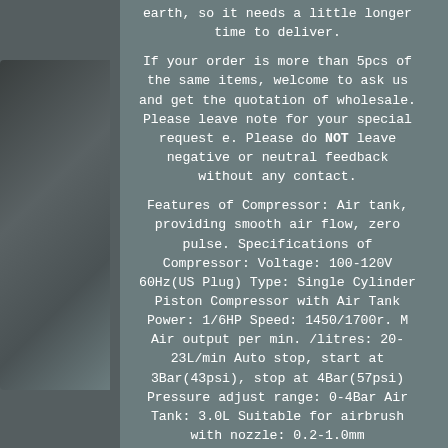[Figure (photo): Photo of a dark grey/black portable air compressor with carrying bag, positioned on the left side of the page]
earth, so it needs a little longer time to deliver.

If your order is more than 5pcs of the same items, welcome to ask us and get the quotation of wholesale. Please leave note for your special request e. Please do NOT leave negative or neutral feedback without any contact.

Features of Compressor: Air tank, providing smooth air flow, zero pulse. Specifications of Compressor: Voltage: 100-120V 60Hz(US Plug) Type: Single Cylinder Piston Compressor with Air Tank Power: 1/6HP Speed: 1450/1700r. M Air output per min. /litres: 20-23L/min Auto stop, start at 3Bar(43psi), stop at 4Bar(57psi) Pressure adjust range: 0-4Bar Air Tank: 3.0L Suitable for airbrush with nozzle: 0.2-1.0mm